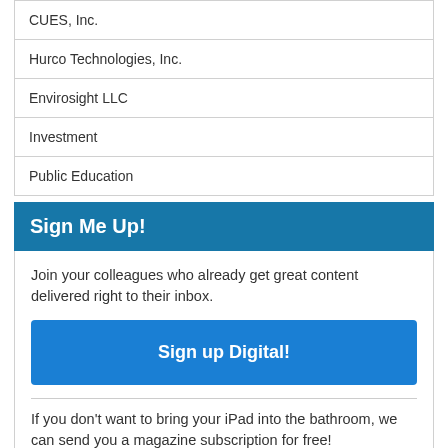| CUES, Inc. |
| Hurco Technologies, Inc. |
| Envirosight LLC |
| Investment |
| Public Education |
Sign Me Up!
Join your colleagues who already get great content delivered right to their inbox.
Sign up Digital!
If you don't want to bring your iPad into the bathroom, we can send you a magazine subscription for free!